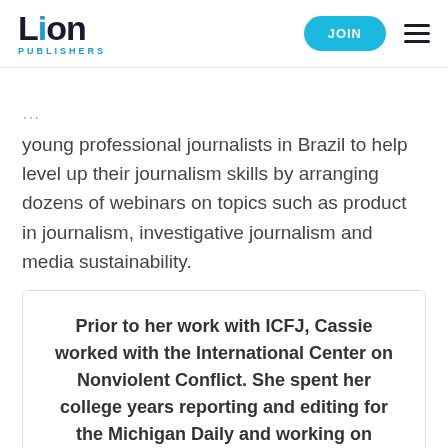Lion Publishers | JOIN
young professional journalists in Brazil to help level up their journalism skills by arranging dozens of webinars on topics such as product in journalism, investigative journalism and media sustainability.
Prior to her work with ICFJ, Cassie worked with the International Center on Nonviolent Conflict. She spent her college years reporting and editing for the Michigan Daily and working on local organizing